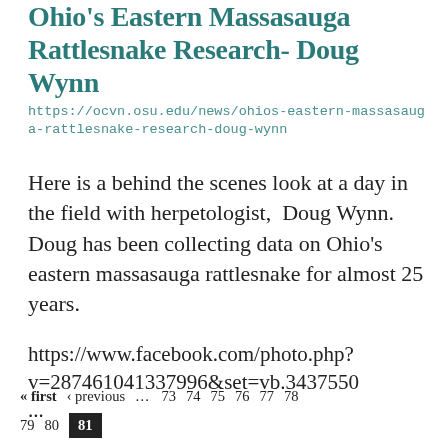Ohio's Eastern Massasauga Rattlesnake Research- Doug Wynn
https://ocvn.osu.edu/news/ohios-eastern-massasauga-rattlesnake-research-doug-wynn
Here is a behind the scenes look at a day in the field with herpetologist, Doug Wynn. Doug has been collecting data on Ohio's eastern massasauga rattlesnake for almost 25 years.
https://www.facebook.com/photo.php?v=287461041337996&set=vb.3437550
...
« first ‹ previous … 73 74 75 76 77 78 79 80 81